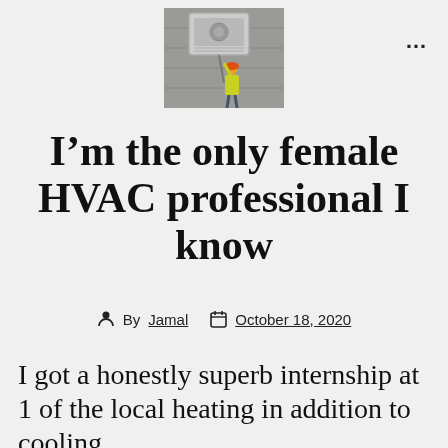[Figure (photo): A worker in a yellow vest and orange hard hat installing or servicing an air conditioning unit mounted on a concrete wall.]
I’m the only female HVAC professional I know
By Jamal   October 18, 2020
I got a honestly superb internship at 1 of the local heating in addition to cooling